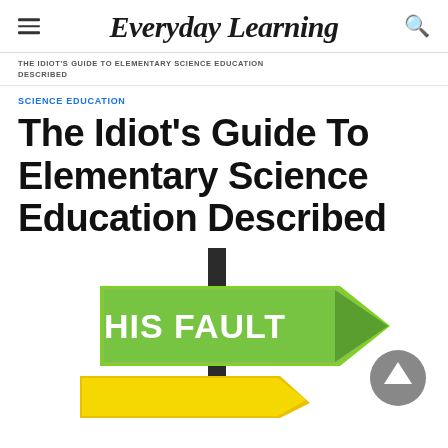Everyday Learning
THE IDIOT'S GUIDE TO ELEMENTARY SCIENCE EDUCATION DESCRIBED
SCIENCE EDUCATION
The Idiot's Guide To Elementary Science Education Described
[Figure (photo): Green arrow sign pointing right reading 'HIS FAULT' on a post, with another sign below it, against a white background. A circular scroll-to-top button is overlaid in the bottom right.]